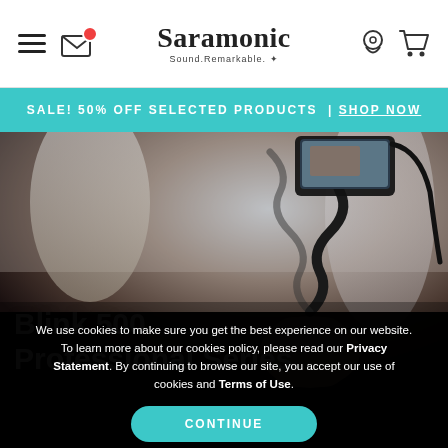Saramonic — Sound.Remarkable.
SALE! 50% OFF SELECTED PRODUCTS | SHOP NOW
[Figure (photo): Person holding a flexible tripod with a smartphone mounted, filming outdoors. Hero image for Blink 500 Professional Series product page.]
Blink 500 Professional Series
We use cookies to make sure you get the best experience on our website. To learn more about our cookies policy, please read our Privacy Statement. By continuing to browse our site, you accept our use of cookies and Terms of Use.
CONTINUE